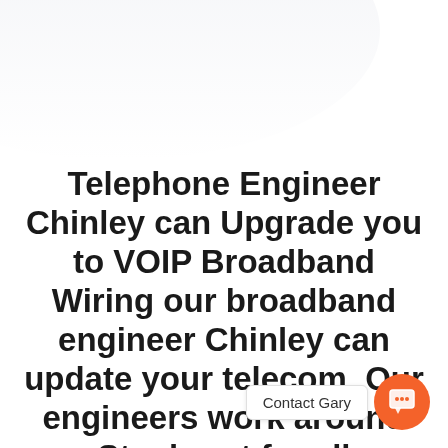[Figure (illustration): Light gray curved decorative background shape at top of page]
Telephone Engineer Chinley can Upgrade you to VOIP Broadband Wiring our broadband engineer Chinley can update your telecom. Our engineers work around Stockport for all broadband repairs, telephone and telecom issues. Contact us today.
[Figure (illustration): Orange circular chat button widget with speech bubble icon, and 'Contact Gary' label beside it]